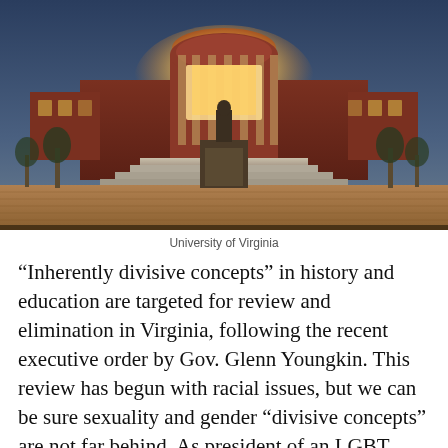[Figure (photo): University of Virginia Rotunda at dusk, illuminated with warm light, bronze statue of Thomas Jefferson in foreground on brick plaza, trees flanking the building against a blue twilight sky]
University of Virginia
“Inherently divisive concepts” in history and education are targeted for review and elimination in Virginia, following the recent executive order by Gov. Glenn Youngkin. This review has begun with racial issues, but we can be sure sexuality and gender “divisive concepts” are not far behind. As president of an LGBT history society who entered UVA in 1969, I am frequently asked what things were like for gays there in the day.